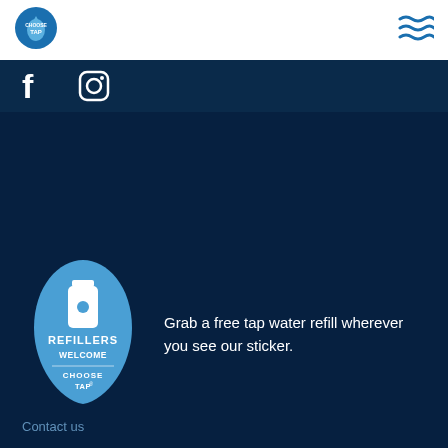Choose Tap logo and navigation menu
[Figure (logo): Choose Tap circular logo with water drop shape]
[Figure (illustration): Three wavy lines hamburger/menu icon in blue]
[Figure (illustration): Facebook icon (f) and Instagram camera icon in white on dark background]
[Figure (illustration): Refillers Welcome Choose Tap sticker badge — blue teardrop shape with white water bottle icon and text REFILLERS WELCOME CHOOSE TAP]
Grab a free tap water refill wherever you see our sticker.
Contact us